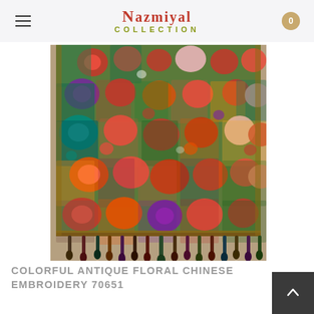Nazmiyal Collection
[Figure (photo): Colorful antique floral Chinese embroidery textile with vibrant floral patterns and fringe tassels at the bottom. The textile features red, orange, green, teal, purple, and multi-colored flowers densely arranged across the fabric.]
COLORFUL ANTIQUE FLORAL CHINESE EMBROIDERY 70651